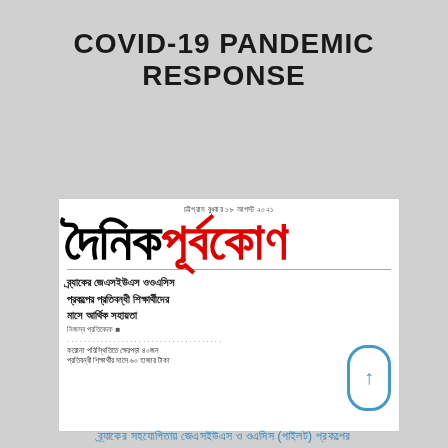COVID-19 PANDEMIC RESPONSE
[Figure (photo): Newspaper clipping from Dainik Purbakona (Bengali newspaper), dated Chittagong, Wednesday 18 August 2021. Shows the newspaper masthead in black and red Bengali script. Article headline in Bengali about BRAC JSS WOSSC project's financial support to disabled students. Snippet text mentions 40 disabled students receiving 60 thousand taka per month during corona period. A blue scroll/up icon is visible on the right side.]
ব্র্যাকের সহযোগিতায় জেএসইউএস ও ওএসিস (পাইলট) প্রকল্পের